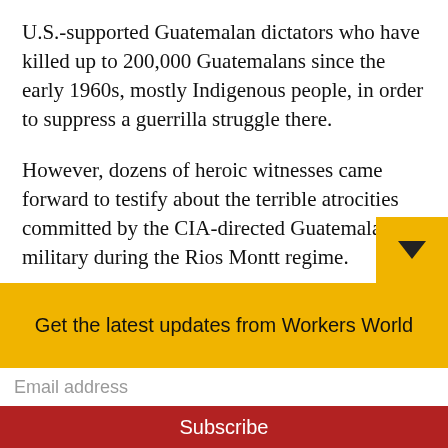U.S.-supported Guatemalan dictators who have killed up to 200,000 Guatemalans since the early 1960s, mostly Indigenous people, in order to suppress a guerrilla struggle there.
However, dozens of heroic witnesses came forward to testify about the terrible atrocities committed by the CIA-directed Guatemalan military during the Rios Montt regime.
“I saw them kill an old woman and officers cut off her head,” said Julio Velasco
Get the latest updates from Workers World
Email address
Subscribe